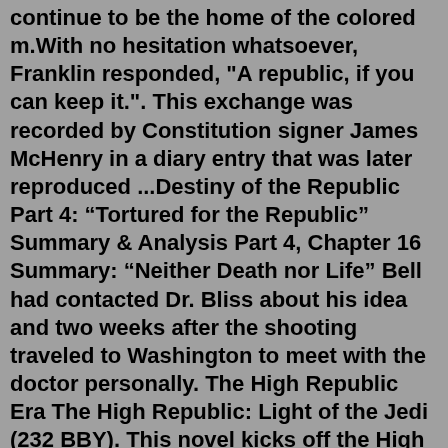continue to be the home of the colored m.With no hesitation whatsoever, Franklin responded, "A republic, if you can keep it.". This exchange was recorded by Constitution signer James McHenry in a diary entry that was later reproduced ...Destiny of the Republic Part 4: “Tortured for the Republic” Summary & Analysis Part 4, Chapter 16 Summary: “Neither Death nor Life” Bell had contacted Dr. Bliss about his idea and two weeks after the shooting traveled to Washington to meet with the doctor personally. The High Republic Era The High Republic: Light of the Jedi (232 BBY). This novel kicks off the High Republic era of the Star Wars universe, introducing events set approximately 200 years before Episode I: The Phantom Menace.It focuses on the Great Disaster, a central event in most of the early High Republic stories.Debt of the Republic of Texas. The Republic of Texas inherited from the provisional and ad interim governments a debt estimated at $1.25 million. Of this, $100,000 was in the form of loans and the remainder in the form of